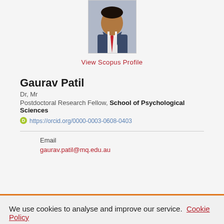[Figure (photo): Headshot photo of Gaurav Patil wearing a suit and red tie]
View Scopus Profile
Gaurav Patil
Dr, Mr
Postdoctoral Research Fellow, School of Psychological Sciences
https://orcid.org/0000-0003-0608-0403
Email
gaurav.patil@mq.edu.au
We use cookies to analyse and improve our service. Cookie Policy